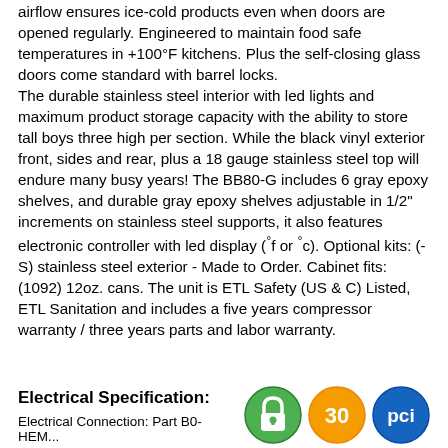airflow ensures ice-cold products even when doors are opened regularly. Engineered to maintain food safe temperatures in +100°F kitchens. Plus the self-closing glass doors come standard with barrel locks. The durable stainless steel interior with led lights and maximum product storage capacity with the ability to store tall boys three high per section. While the black vinyl exterior front, sides and rear, plus a 18 gauge stainless steel top will endure many busy years! The BB80-G includes 6 gray epoxy shelves, and durable gray epoxy shelves adjustable in 1/2" increments on stainless steel supports, it also features electronic controller with led display (°f or °c). Optional kits: (-S) stainless steel exterior - Made to Order. Cabinet fits: (1092) 12oz. cans. The unit is ETL Safety (US & C) Listed, ETL Sanitation and includes a five years compressor warranty / three years parts and labor warranty.
Electrical Specification:
[Figure (other): Three certification/badge icons: a green lock badge, an orange '30' badge, and a blue 'pci' badge]
Electrical Connection: Part B0-HEM...